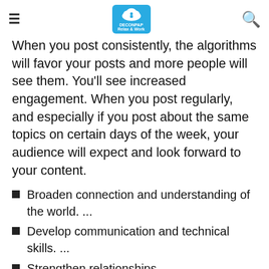DECONPAP - Relax & Work
When you post consistently, the algorithms will favor your posts and more people will see them. You'll see increased engagement. When you post regularly, and especially if you post about the same topics on certain days of the week, your audience will expect and look forward to your content.
Broaden connection and understanding of the world. ...
Develop communication and technical skills. ...
Strengthen relationships. ...
A place to seek support. ...
Campaigning for social good. ...
Develop a positive digital footprint